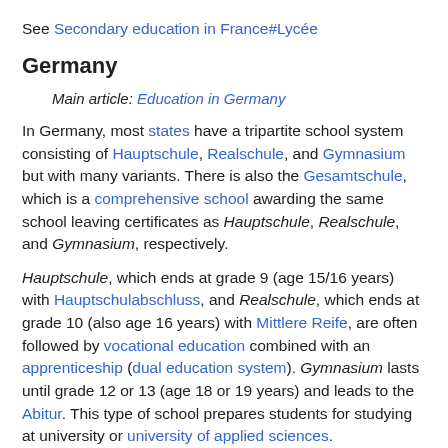See Secondary education in France#Lycée
Germany
Main article: Education in Germany
In Germany, most states have a tripartite school system consisting of Hauptschule, Realschule, and Gymnasium but with many variants. There is also the Gesamtschule, which is a comprehensive school awarding the same school leaving certificates as Hauptschule, Realschule, and Gymnasium, respectively.
Hauptschule, which ends at grade 9 (age 15/16 years) with Hauptschulabschluss, and Realschule, which ends at grade 10 (also age 16 years) with Mittlere Reife, are often followed by vocational education combined with an apprenticeship (dual education system). Gymnasium lasts until grade 12 or 13 (age 18 or 19 years) and leads to the Abitur. This type of school prepares students for studying at university or university of applied sciences.
In most German states, primary school ends with grade 4 (age 10 years) but some have grades 5 and 6 (age 11 and 12 years,